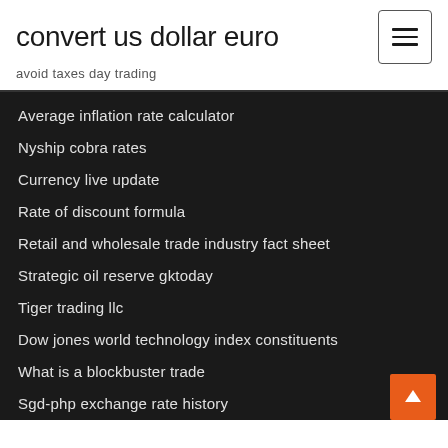convert us dollar euro
avoid taxes day trading
Average inflation rate calculator
Nyship cobra rates
Currency live update
Rate of discount formula
Retail and wholesale trade industry fact sheet
Strategic oil reserve gktoday
Tiger trading llc
Dow jones world technology index constituents
What is a blockbuster trade
Sgd-php exchange rate history